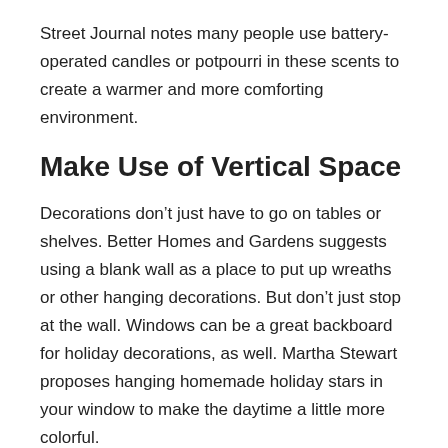Street Journal notes many people use battery-operated candles or potpourri in these scents to create a warmer and more comforting environment.
Make Use of Vertical Space
Decorations don’t just have to go on tables or shelves. Better Homes and Gardens suggests using a blank wall as a place to put up wreaths or other hanging decorations. But don’t just stop at the wall. Windows can be a great backboard for holiday decorations, as well. Martha Stewart proposes hanging homemade holiday stars in your window to make the daytime a little more colorful.